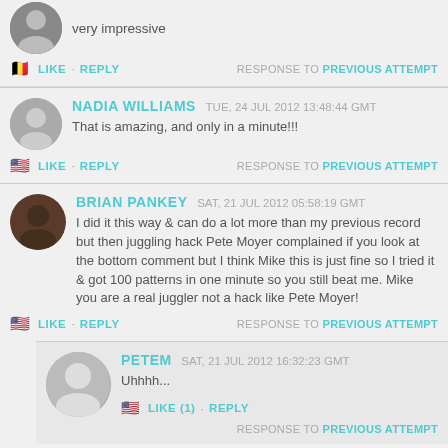very impressive
LIKE · REPLY   RESPONSE TO PREVIOUS ATTEMPT
NADIA WILLIAMS TUE, 24 JUL 2012 13:48:44 GMT
That is amazing, and only in a minute!!!
LIKE · REPLY   RESPONSE TO PREVIOUS ATTEMPT
BRIAN PANKEY SAT, 21 JUL 2012 05:58:19 GMT
I did it this way & can do a lot more than my previous record but then juggling hack Pete Moyer complained if you look at the bottom comment but I think Mike this is just fine so I tried it & got 100 patterns in one minute so you still beat me. Mike you are a real juggler not a hack like Pete Moyer!
LIKE · REPLY   RESPONSE TO PREVIOUS ATTEMPT
PETEM SAT, 21 JUL 2012 16:32:23 GMT
Uhhhh...
LIKE (1) · REPLY   RESPONSE TO PREVIOUS ATTEMPT